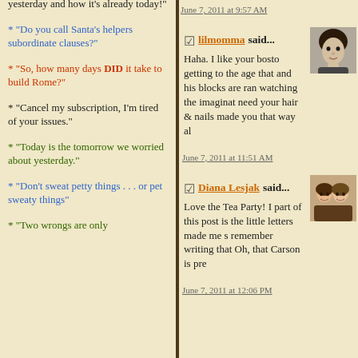* "Do you call Santa's helpers subordinate clauses?"
* "So, how many days DID it take to build Rome?"
* "Cancel my subscription, I'm tired of your issues."
* "Today is the tomorrow we worried about yesterday."
* "Don't sweat petty things . . . or pet sweaty things"
* "Two wrongs are only
June 7, 2011 at 9:57 AM
lilmomma said... Haha. I like your bosto getting to the age that and his blocks are ran watching the imaginat need your hair & nails made you that way al
June 7, 2011 at 11:51 AM
Diana Lesjak said... Love the Tea Party! I part of this post is the little letters made me s remember writing that Oh, that Carson is pre
June 7, 2011 at 12:06 PM